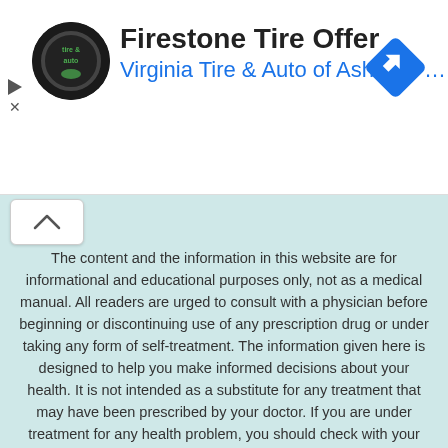[Figure (screenshot): Advertisement banner for Firestone Tire Offer from Virginia Tire & Auto of Ashburn, with circular logo on left and blue diamond navigation icon on right]
Firestone Tire Offer
Virginia Tire & Auto of Ashburn …
The content and the information in this website are for informational and educational purposes only, not as a medical manual. All readers are urged to consult with a physician before beginning or discontinuing use of any prescription drug or under taking any form of self-treatment. The information given here is designed to help you make informed decisions about your health. It is not intended as a substitute for any treatment that may have been prescribed by your doctor. If you are under treatment for any health problem, you should check with your doctor before trying any home remedies. If you are following any medication, take any herb, mineral, vitamin or other supplement only after consulting with your doctor. If you suspect that you have a medical problem, we urge you to seek competent medical help. The Health Benefits Times writers, publishers, authors, its representatives disclaim liability for any unfavorable effects causing directly or indirectly from articles and materials